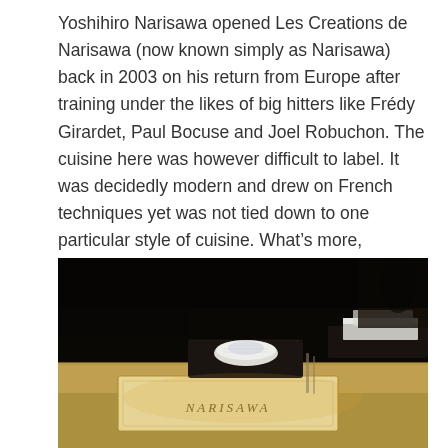Yoshihiro Narisawa opened Les Creations de Narisawa (now known simply as Narisawa) back in 2003 on his return from Europe after training under the likes of big hitters like Frédy Girardet, Paul Bocuse and Joel Robuchon. The cuisine here was however difficult to label. It was decidedly modern and drew on French techniques yet was not tied down to one particular style of cuisine. What's more, Narisawa departed from the traditional focus on agriculturally cultivated produce. Instead he favoured natural ingredients and produces from the wild forests and mountains like nuts, berries and the wild animals that fed on them.
[Figure (photo): Dark restaurant interior photo showing a table setting with the NARISAWA menu/book visible in the foreground, a rolled white napkin on a black plate or tray, additional place settings in the background, all lit with warm ambient lighting against a dark background.]